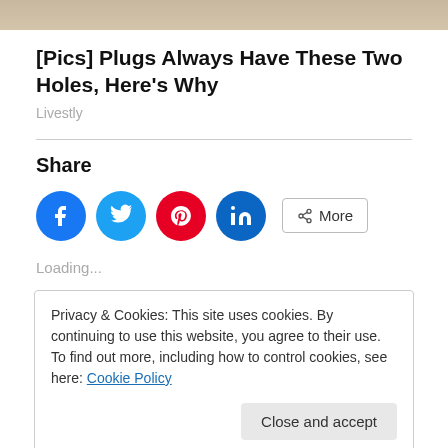[Figure (photo): Top portion of an image, partially cropped, showing a blurred outdoor scene with beige/tan tones]
[Pics] Plugs Always Have These Two Holes, Here's Why
Livestly
Share
[Figure (infographic): Social share buttons: Facebook (blue circle), Twitter (light blue circle), Pinterest (red circle), LinkedIn (dark teal circle), and a More button]
Loading...
Privacy & Cookies: This site uses cookies. By continuing to use this website, you agree to their use.
To find out more, including how to control cookies, see here: Cookie Policy
in  Hanukkah